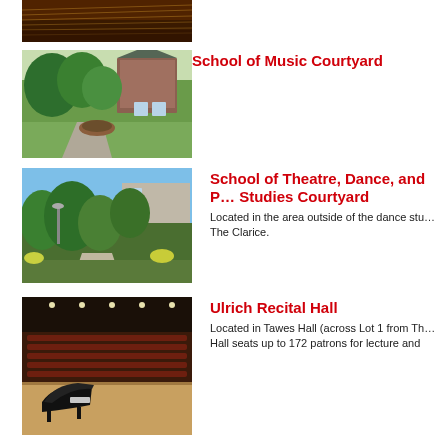[Figure (photo): Partial view of piano interior, top of page (cropped)]
[Figure (photo): School of Music Courtyard exterior photo showing brick building, trees, and pathway]
School of Music Courtyard
[Figure (photo): School of Theatre, Dance, and Performance Studies Courtyard exterior photo showing trees and building]
School of Theatre, Dance, and Performance Studies Courtyard
Located in the area outside of the dance stu... The Clarice.
[Figure (photo): Ulrich Recital Hall interior photo showing grand piano and seating]
Ulrich Recital Hall
Located in Tawes Hall (across Lot 1 from Th... Hall seats up to 172 patrons for lecture and